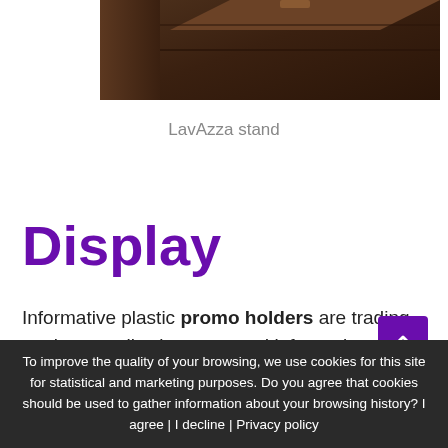[Figure (photo): Partial view of a LavAzza wooden display stand, dark brown color, shown from above at an angle, cropped at the top of the page]
LavAzza stand
Display
Informative plastic promo holders are trading equipment allowing to spread information about quality, exceptionalness and benefit for user. Promo holders is one of the business development means.
To improve the quality of your browsing, we use cookies for this site for statistical and marketing purposes. Do you agree that cookies should be used to gather information about your browsing history? I agree | I decline | Privacy policy